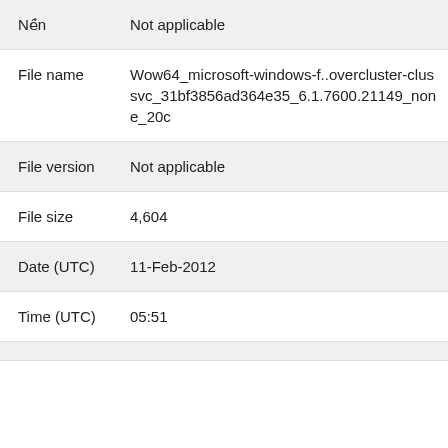| Nền | Not applicable |
| File name | Wow64_microsoft-windows-f..overcluster-clussvc_31bf3856ad364e35_6.1.7600.21149_none_20c... |
| File version | Not applicable |
| File size | 4,604 |
| Date (UTC) | 11-Feb-2012 |
| Time (UTC) | 05:51 |